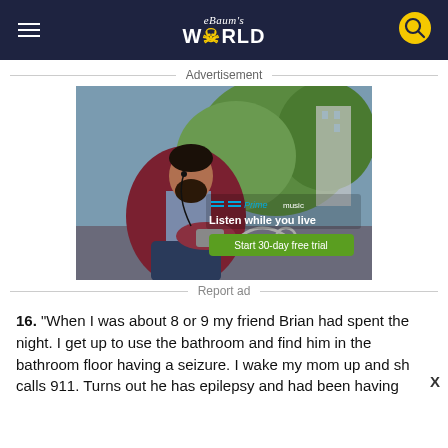eBaum's World
Advertisement
[Figure (photo): Amazon Prime Music advertisement showing a bearded man in a burgundy blazer sitting on a bench outdoors looking at his phone with earbuds. Text overlay reads 'Prime music', 'Listen while you live', 'Start 30-day free trial'.]
Report ad
16. “When I was about 8 or 9 my friend Brian had spent the night. I get up to use the bathroom and find him in the bathroom floor having a seizure. I wake my mom up and she calls 911. Turns out he has epilepsy and had been having